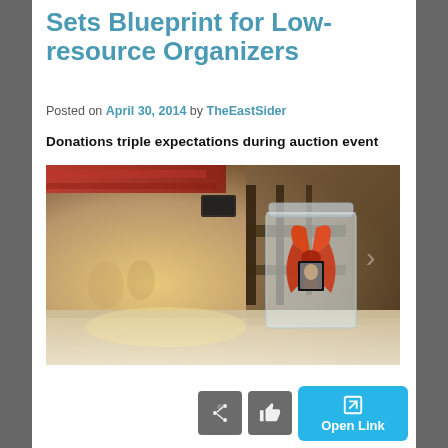Sets Blueprint for Low-resource Organizers
Posted on April 30, 2014 by TheEastSider
Donations triple expectations during auction event
[Figure (photo): A glass jar with an orange ribbon and a small portrait photo inside, sitting on a counter in a restaurant or event space with red ceiling accents in the background. A navigation arrow is visible on the right side.]
Open Link